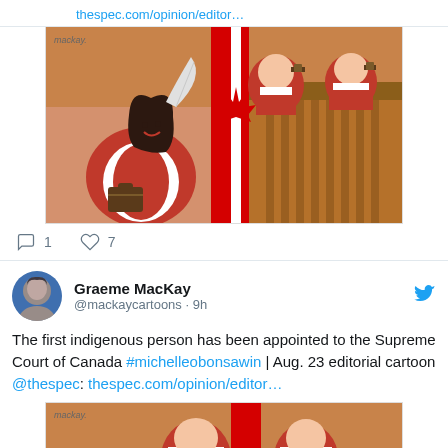thespec.com/opinion/editor…
[Figure (illustration): Editorial cartoon by MacKay showing an indigenous woman in red and white robes holding a quill feather, smiling, with Canadian Supreme Court judges in the background at their bench with gavels, and a Canadian flag in the middle.]
1  7 (comment and like counts)
Graeme MacKay @mackaycartoons · 9h
The first indigenous person has been appointed to the Supreme Court of Canada #michelleobonsawin | Aug. 23 editorial cartoon @thespec: thespec.com/opinion/editor…
[Figure (illustration): Bottom portion of the same MacKay editorial cartoon, partially visible, showing the tops of Supreme Court judges in red robes.]